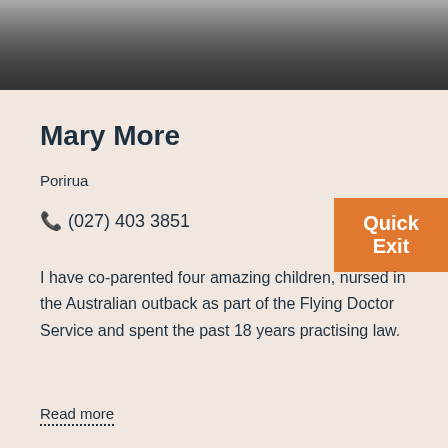[Figure (photo): Black and white photo of Mary More wearing a beaded necklace, cropped to show upper body]
Mary More
Porirua
(027) 403 3851
Quick Exit
I have co-parented four amazing children, nursed in the Australian outback as part of the Flying Doctor Service and spent the past 18 years practising law.
Read more